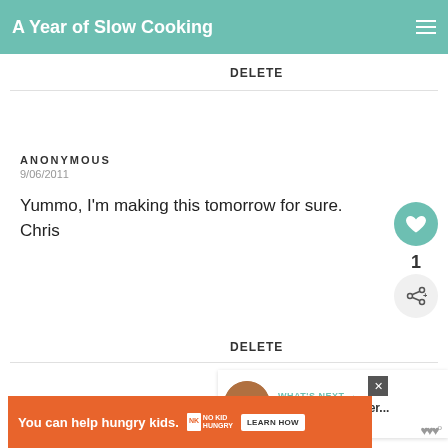A Year of Slow Cooking
DELETE
ANONYMOUS
9/06/2011
Yummo, I'm making this tomorrow for sure. Chris
DELETE
WHAT'S NEXT → Best Slow Cooker...
[Figure (screenshot): Ad banner: You can help hungry kids. No Kid Hungry. LEARN HOW]